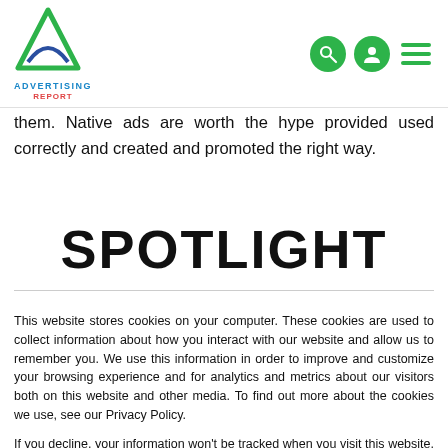[Figure (logo): Advertising Report logo with green triangle/mountain icon and blue/red text]
them. Native ads are worth the hype provided used correctly and created and promoted the right way.
SPOTLIGHT
This website stores cookies on your computer. These cookies are used to collect information about how you interact with our website and allow us to remember you. We use this information in order to improve and customize your browsing experience and for analytics and metrics about our visitors both on this website and other media. To find out more about the cookies we use, see our Privacy Policy.
If you decline, your information won't be tracked when you visit this website. A single cookie will be used in your browser to remember your preference not to be tracked.